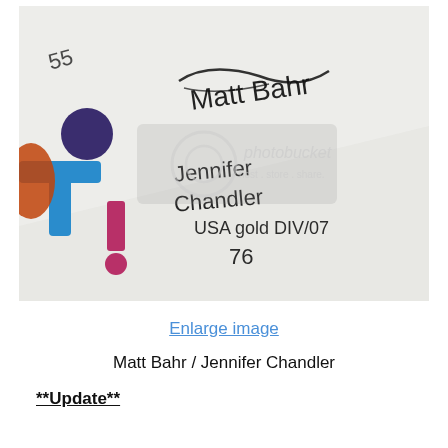[Figure (photo): Close-up photo of a signed white shirt/fabric with colorful cartoon character graphic (stick figure in blue), showing handwritten autographs including 'Matt Bahr' and 'Jennifer Chandler USA gold DIV/07 76'. A Photobucket watermark is visible over the image.]
Enlarge image
Matt Bahr / Jennifer Chandler
**Update**